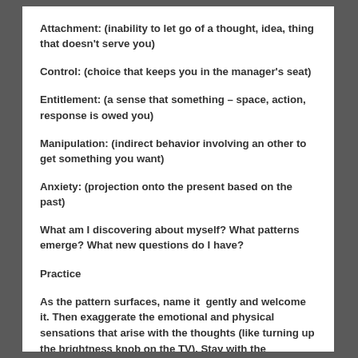Attachment: (inability to let go of a thought, idea, thing that doesn't serve you)
Control: (choice that keeps you in the manager's seat)
Entitlement: (a sense that something – space, action, response is owed you)
Manipulation: (indirect behavior involving an other to get something you want)
Anxiety: (projection onto the present based on the past)
What am I discovering about myself? What patterns emerge? What new questions do I have?
Practice
As the pattern surfaces, name it  gently and welcome it. Then exaggerate the emotional and physical sensations that arise with the thoughts (like turning up the brightness knob on the TV). Stay with the discomfort.